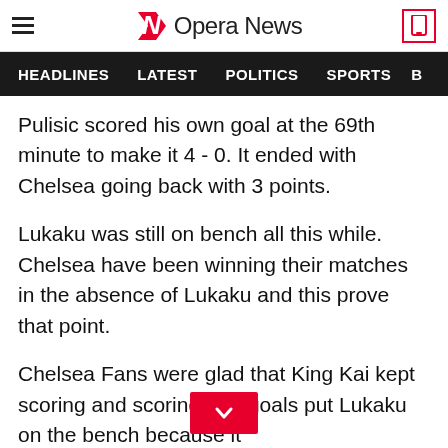Opera News
HEADLINES   LATEST   POLITICS   SPORTS
Pulisic scored his own goal at the 69th minute to make it 4 - 0. It ended with Chelsea going back with 3 points.
Lukaku was still on bench all this while. Chelsea have been winning their matches in the absence of Lukaku and this prove that point.
Chelsea Fans were glad that King Kai kept scoring and scoring. His goals put Lukaku on the bench because it